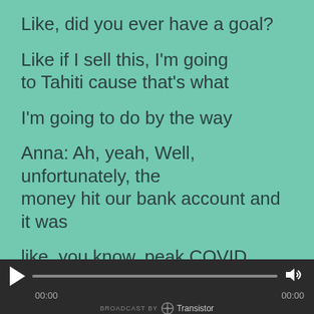Like, did you ever have a goal?
Like if I sell this, I'm going to Tahiti cause that's what
I'm going to do by the way
Anna: Ah, yeah, Well, unfortunately, the money hit our bank account and it was
like, you know, peak COVID, we're not really comfortable traveling anywhere,
it was nobody had their vaccines yet.
[Figure (other): Audio player bar with play button, progress bar, volume icon, timestamps 00:00 and 00:00, and 'BROADCAST BY Transistor' branding]